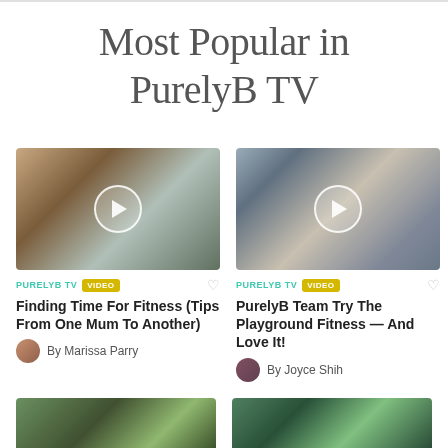Most Popular in PurelyB TV
[Figure (photo): Woman doing yoga/fitness with baby, play button overlay]
[Figure (photo): Group fitness class at gym, play button overlay]
PURELYB TV  VIDEO
Finding Time For Fitness (Tips From One Mum To Another)
By Marissa Parry
PURELYB TV  VIDEO
PurelyB Team Try The Playground Fitness — And Love It!
By Joyce Shih
[Figure (photo): Partial image bottom left]
[Figure (photo): Partial image bottom right]